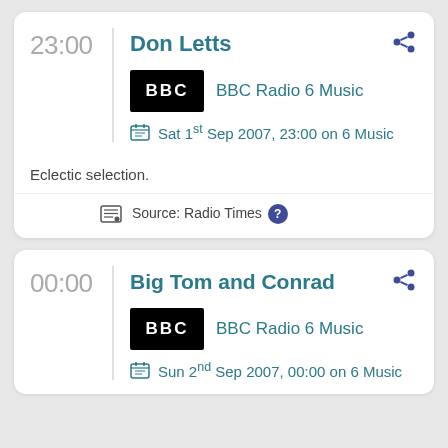23:00
Don Letts
[Figure (logo): BBC logo in white text on black background]
BBC Radio 6 Music
Sat 1st Sep 2007, 23:00 on 6 Music
Eclectic selection.
Source: Radio Times
00:00
Big Tom and Conrad
[Figure (logo): BBC logo in white text on black background]
BBC Radio 6 Music
Sun 2nd Sep 2007, 00:00 on 6 Music